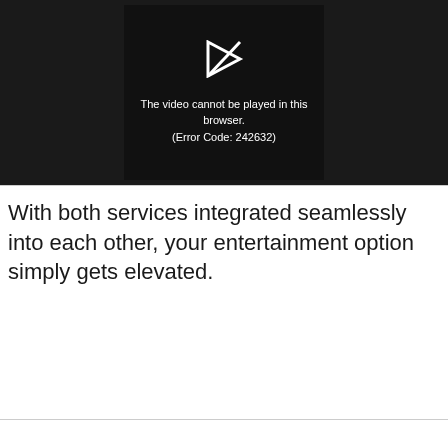[Figure (screenshot): Video player showing an error message on a dark background: 'The video cannot be played in this browser. (Error Code: 242632)' with a play icon with a slash through it.]
With both services integrated seamlessly into each other, your entertainment option simply gets elevated.